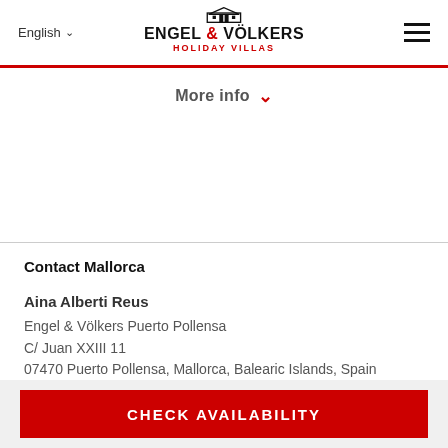English | ENGEL & VÖLKERS HOLIDAY VILLAS
More info
Contact Mallorca
Aina Alberti Reus
Engel & Völkers Puerto Pollensa
C/ Juan XXIII 11
07470 Puerto Pollensa, Mallorca, Balearic Islands, Spain
Tel: +34 971 86 84 50
Mobile: +34 650 77 14 91
CHECK AVAILABILITY